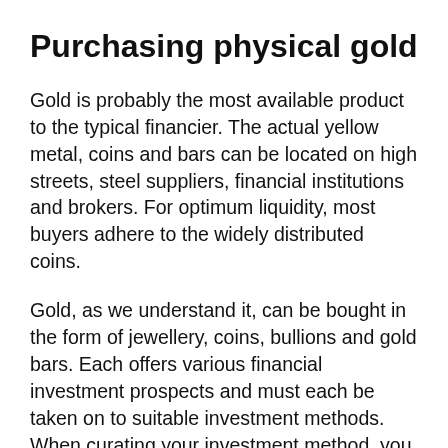Purchasing physical gold
Gold is probably the most available product to the typical financier. The actual yellow metal, coins and bars can be located on high streets, steel suppliers, financial institutions and brokers. For optimum liquidity, most buyers adhere to the widely distributed coins.
Gold, as we understand it, can be bought in the form of jewellery, coins, bullions and gold bars. Each offers various financial investment prospects and must each be taken on to suitable investment methods. When curating your investment method, you should consider the expenses that go into each part of physical gold.